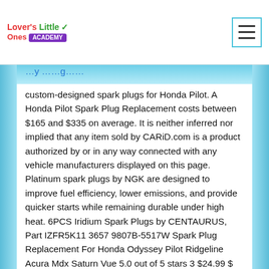Lover's Little Ones ACADEMY
custom-designed spark plugs for Honda Pilot. A Honda Pilot Spark Plug Replacement costs between $165 and $335 on average. It is neither inferred nor implied that any item sold by CARiD.com is a product authorized by or in any way connected with any vehicle manufacturers displayed on this page. Platinum spark plugs by NGK are designed to improve fuel efficiency, lower emissions, and provide quicker starts while remaining durable under high heat. 6PCS Iridium Spark Plugs by CENTAURUS, Part IZFR5K11 3657 9807B-5517W Spark Plug Replacement For Honda Odyssey Pilot Ridgeline Acura Mdx Saturn Vue 5.0 out of 5 stars 3 $24.99 $ 24 . Our Spark Plugs OEM and aftermarket parts range from $2.09 to $29.34 for the Honda Pilot. It's what your 2007 Honda Element engine work starts from and it's highly important to have only the best quality ones for your car. Important note: The proper spark plug gap on Honda cars is .043" (or 1.1mm).All of the plugs I recommended above fit that specification. Thanks! Oil and filter change; Inspect brakes for wear Is your gas... Honda Pilot 2007, Double